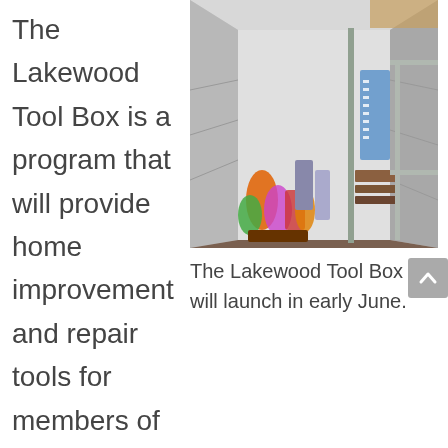The Lakewood Tool Box is a program that will provide home improvement and repair tools for members of the community.  The program is
[Figure (photo): Interior of a shipping container used as storage for the Lakewood Tool Box program, showing tools, equipment, and shelving on both sides.]
The Lakewood Tool Box will launch in early June.